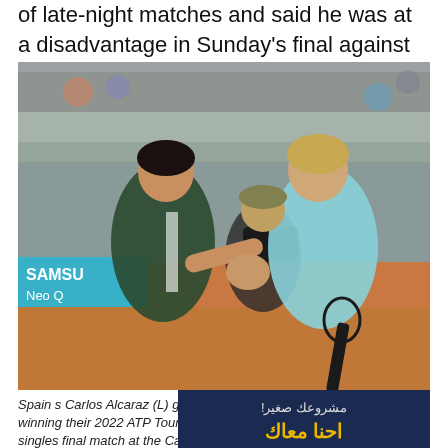of late-night matches and said he was at a disadvantage in Sunday's final against Carlos Alcaraz at the Madrid Open.
[Figure (photo): Spain's Carlos Alcaraz (L) shaking hands with Germany's Alexander Zverev on a clay tennis court after their Madrid Open final match. Alcaraz is wearing a dark green outfit and Zverev is wearing a light blue tank top holding a tennis racket. Samsung Neo Q advertising board visible in background.]
Spain s Carlos Alcaraz (L) greets Germany s Alexander Zverev after winning their 2022 ATP Tour Madrid Open tennis tournament men s singles final match at the Caja Magica in Madrid on May 8, 2022. (AFP)
[Figure (photo): Advertisement banner with Arabic text reading 'مشروعك صغير!' and 'احنا معاك' on a dark blue background with yellow text.]